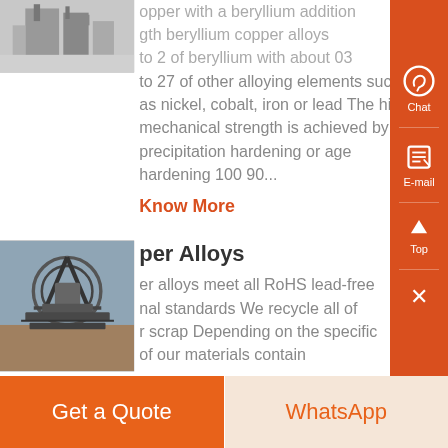[Figure (photo): Industrial machinery or processing equipment, gray tones]
copper with a beryllium addition gth beryllium copper alloys to 2 of beryllium with about 03 to 27 of other alloying elements such as nickel, cobalt, iron or lead The high mechanical strength is achieved by precipitation hardening or age hardening 100 90...
Know More
[Figure (photo): Large industrial mining or processing machine with mechanical arms, outdoor setting]
per Alloys
er alloys meet all RoHS lead-free nal standards We recycle all of r scrap Depending on the specific of our materials contain
Get a Quote
WhatsApp